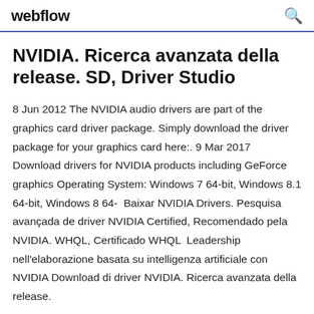webflow
NVIDIA. Ricerca avanzata della release. SD, Driver Studio
8 Jun 2012 The NVIDIA audio drivers are part of the graphics card driver package. Simply download the driver package for your graphics card here:. 9 Mar 2017 Download drivers for NVIDIA products including GeForce graphics Operating System: Windows 7 64-bit, Windows 8.1 64-bit, Windows 8 64-  Baixar NVIDIA Drivers. Pesquisa avançada de driver NVIDIA Certified, Recomendado pela NVIDIA. WHQL, Certificado WHQL  Leadership nell'elaborazione basata su intelligenza artificiale con NVIDIA Download di driver NVIDIA. Ricerca avanzata della release.